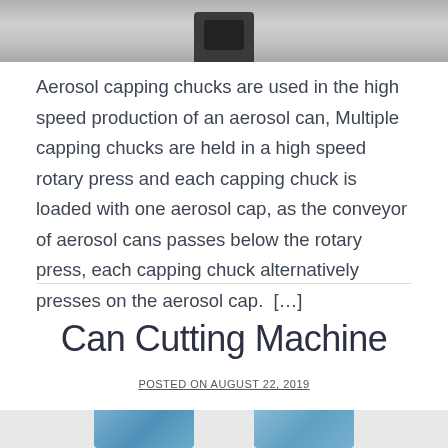[Figure (photo): Top portion of a machine (aerosol capping chuck or similar industrial equipment), grayscale photo cropped at top of page]
Aerosol capping chucks are used in the high speed production of an aerosol can, Multiple capping chucks are held in a high speed rotary press and each capping chuck is loaded with one aerosol cap, as the conveyor of aerosol cans passes below the rotary press, each capping chuck alternatively presses on the aerosol cap.  [...]
Can Cutting Machine
POSTED ON AUGUST 22, 2019
[Figure (photo): Bottom portion of page showing partial image of a can cutting machine, blue/grey tones, cropped]